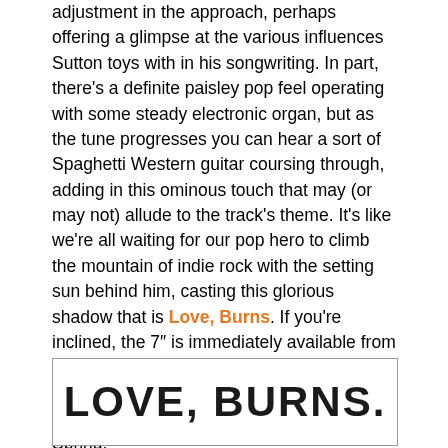adjustment in the approach, perhaps offering a glimpse at the various influences Sutton toys with in his songwriting. In part, there's a definite paisley pop feel operating with some steady electronic organ, but as the tune progresses you can hear a sort of Spaghetti Western guitar coursing through, adding in this ominous touch that may (or may not) allude to the track's theme. It's like we're all waiting for our pop hero to climb the mountain of indie rock with the setting sun behind him, casting this glorious shadow that is Love, Burns. If you're inclined, the 7″ is immediately available from KUS in Germany, but there will be some stateside copies ready within the next month. Plus, a full LP is on the way for next Spring.
[Figure (illustration): Box with bold large text reading LOVE, BURNS.]